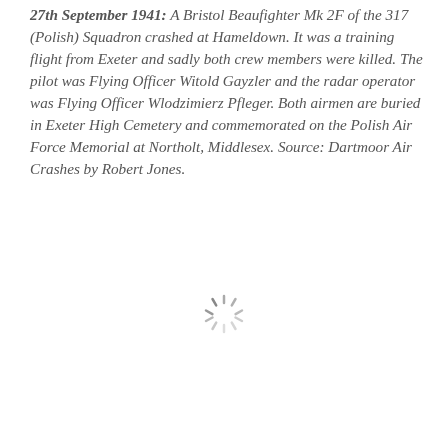27th September 1941: A Bristol Beaufighter Mk 2F of the 317 (Polish) Squadron crashed at Hameldown. It was a training flight from Exeter and sadly both crew members were killed. The pilot was Flying Officer Witold Gayzler and the radar operator was Flying Officer Wlodzimierz Pfleger. Both airmen are buried in Exeter High Cemetery and commemorated on the Polish Air Force Memorial at Northolt, Middlesex. Source: Dartmoor Air Crashes by Robert Jones.
[Figure (other): Loading spinner icon (animated spinner graphic) centered in the lower half of the page]